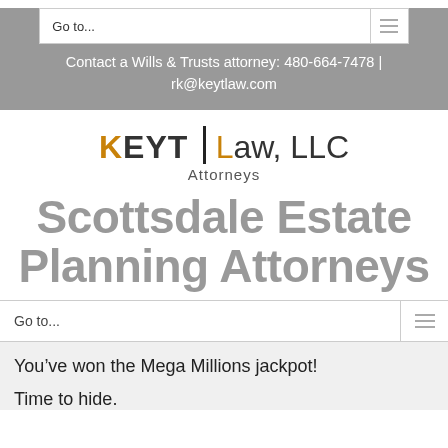Go to...
Contact a Wills & Trusts attorney: 480-664-7478 | rk@keytlaw.com
[Figure (logo): KEYT Law, LLC Attorneys logo with orange K and L letters, vertical bar divider]
Scottsdale Estate Planning Attorneys
Go to...
You've won the Mega Millions jackpot!
Time to hide.